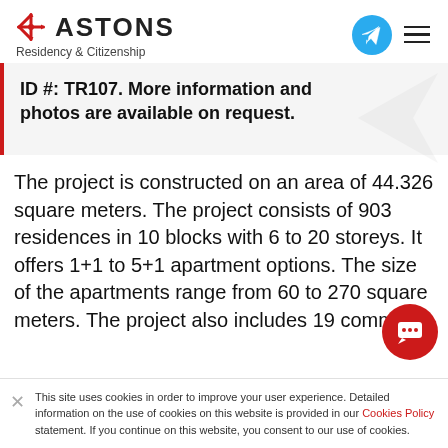ASTONS Residency & Citizenship
ID #: TR107. More information and photos are available on request.
The project is constructed on an area of 44.326 square meters. The project consists of 903 residences in 10 blocks with 6 to 20 storeys. It offers 1+1 to 5+1 apartment options. The size of the apartments range from 60 to 270 square meters. The project also includes 19 comm
This site uses cookies in order to improve your user experience. Detailed information on the use of cookies on this website is provided in our Cookies Policy statement. If you continue on this website, you consent to our use of cookies.